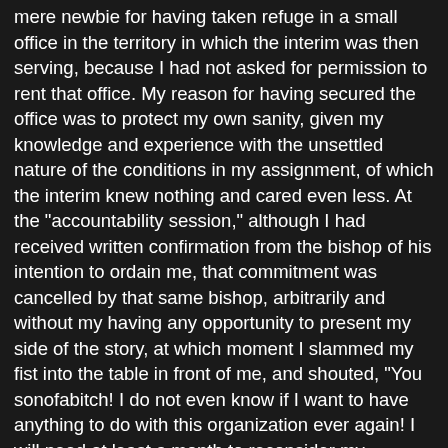mere newbie for having taken refuge in a small office in the territory in which the interim was then serving, because I had not asked for permission to rent that office. My reason for having secured the office was to protect my own sanity, given my knowledge and experience with the unsettled nature of the conditions in my assignment, of which the interim knew nothing and cared even less. At the "accountability session," although I had received written confirmation from the bishop of his intention to ordain me, that commitment was cancelled by that same bishop, arbitrarily and without my having any opportunity to present my side of the story, at which moment I slammed my fist into the table in front of me, and shouted, "You sonofabitch! I do not even know if I want to have anything to do with this organization ever again! I will need at least a month to reconsider my position." Letting my voice be heard was the last thing on the mind of those present: the bishop, the interim, the faculty advisor. There were no notes or transcripts of the meeting, and I recall quite literally shouting venom at the driver (the interim) on the return trip a full three hours.
The diocese and bishop did not consider it important enough